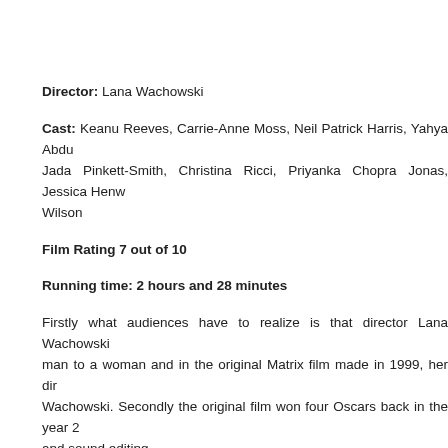Director: Lana Wachowski
Cast: Keanu Reeves, Carrie-Anne Moss, Neil Patrick Harris, Yahya Abdul-Mateen II, Jada Pinkett-Smith, Christina Ricci, Priyanka Chopra Jonas, Jessica Henwick, Lambert Wilson
Film Rating 7 out of 10
Running time: 2 hours and 28 minutes
Firstly what audiences have to realize is that director Lana Wachowski transitioned from a man to a woman and in the original Matrix film made in 1999, her directorial credit was as Wachowski. Secondly the original film won four Oscars back in the year 2000 including best sound editing.
So after nearly twenty years, Neo and Trinity are back in or out of The Matrix depending on the pill you took. For Choice is an Illusion.